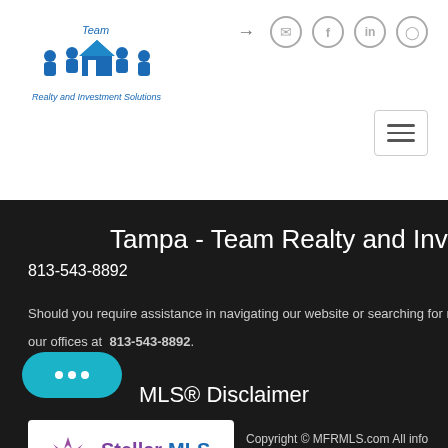Team Realty and Investment Solutions - navigation header with icons
Tampa - Team Realty and Investment Sol 813-543-8892
Should you require assistance in navigating our website or searching for real estate our offices at 813-543-8892.
MLS® Disclaimer
[Figure (logo): Stellar MLS logo with starburst icon in purple and blue colors]
Copyright © MFRMLS.com All info
ble but not guaranteed. All properties are subject to pric al. Neither listing broker(s) or information provider(s) sha